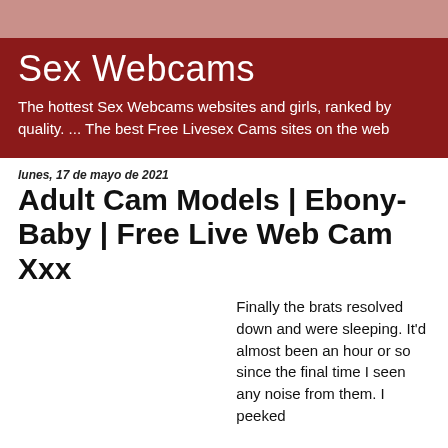Sex Webcams
The hottest Sex Webcams websites and girls, ranked by quality. ... The best Free Livesex Cams sites on the web
lunes, 17 de mayo de 2021
Adult Cam Models | Ebony-Baby | Free Live Web Cam Xxx
Finally the brats resolved down and were sleeping. It'd almost been an hour or so since the final time I seen any noise from them. I peeked